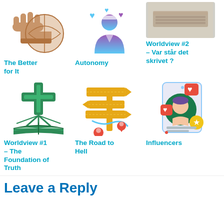[Figure (illustration): Hand reaching out / touching a globe or round object - icon for 'The Better for It']
[Figure (illustration): Purple/blue nurse or caregiver figure with hearts - icon for 'Autonomy']
[Figure (photo): Photo of open books on a surface - icon for 'Worldview #2 - Var star det skrivet?']
The Better for It
Autonomy
Worldview #2 – Var står det skrivet ?
[Figure (illustration): Green cross above an open bible/book - icon for 'Worldview #1 - The Foundation of Truth']
[Figure (illustration): Yellow signpost with direction arrows and red location pins - icon for 'The Road to Hell']
[Figure (illustration): Social media influencer profile with hearts and stars - icon for 'Influencers']
Worldview #1 – The Foundation of Truth
The Road to Hell
Influencers
Leave a Reply